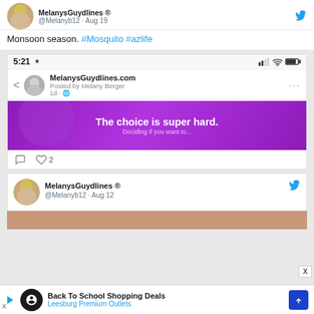[Figure (screenshot): Twitter/social media feed screenshot showing tweets from @Melanyb12 and a Facebook post from MelanysGuydlines.com, plus an advertisement for Leesburg Premium Outlets Back To School Shopping Deals]
Monsoon season. #Mosquito #azlife
5:21
MelanysGuydlines.com
Posted by Melany Berger
1d · 🌐
The choice is super hard.
MelanysGuydlines ® @Melanyb12 · Aug 12
Back To School Shopping Deals Leesburg Premium Outlets